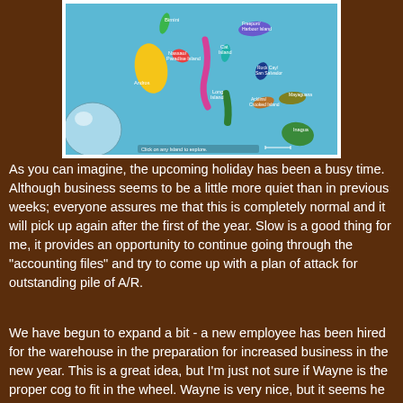[Figure (map): Colorful illustrated map of Bahamian islands on a light blue background with island labels and a globe icon. Text at bottom reads 'Click on any Island to explore.']
As you can imagine, the upcoming holiday has been a busy time.  Although business seems to be a little more quiet than in previous weeks; everyone assures me that this is completely normal and it will pick up again after the first of the year.  Slow is a good thing for me, it provides an opportunity to continue going through the "accounting files" and try to come up with a plan of attack for outstanding pile of A/R.
We have begun to expand a bit - a new employee has been hired for the warehouse in the preparation for increased business in the new year.  This is a great idea, but I'm just not sure if Wayne is the proper cog to fit in the wheel.  Wayne is very nice, but it seems he is a bit on the nervous